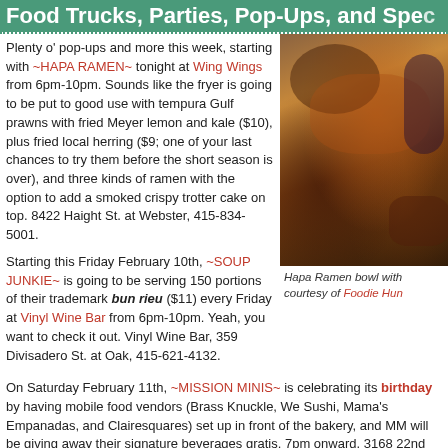Food Trucks, Parties, Pop-Ups, and Spe...
Plenty o' pop-ups and more this week, starting with ~HAPA RAMEN~ tonight at Wing Wings from 6pm-10pm. Sounds like the fryer is going to be put to good use with tempura Gulf prawns with fried Meyer lemon and kale ($10), plus fried local herring ($9; one of your last chances to try them before the short season is over), and three kinds of ramen with the option to add a smoked crispy trotter cake on top. 8422 Haight St. at Webster, 415-834-5001.
Starting this Friday February 10th, ~SOUP JUNKIE~ is going to be serving 150 portions of their trademark bun rieu ($11) every Friday at Vinyl Wine Bar from 6pm-10pm. Yeah, you want to check it out. Vinyl Wine Bar, 359 Divisadero St. at Oak, 415-621-4132.
[Figure (photo): A bowl of Hapa Ramen with crispy fried ingredients, dark broth, purple cabbage and garnishes]
Hapa Ramen bowl with... courtesy of Foodie Hun...
On Saturday February 11th, ~MISSION MINIS~ is celebrating its birthday by having mobile food vendors (Brass Knuckle, We Sushi, Mama's Empanadas, and Clairesquares) set up in front of the bakery, and MM will be giving away their signature beverages gratis. 7pm onward. 3168 22nd St. at Mission, 415-817-1540.
On Monday February 13th, chef Sarah Kirnon is popping up at ~BAR TARTINE~ fe... cicerone Sayre Piotrkowski. Check out the two delicious-sounding set menu options... four brewers will be in attendance that night. Guests get to try Daily (B)red, the new...